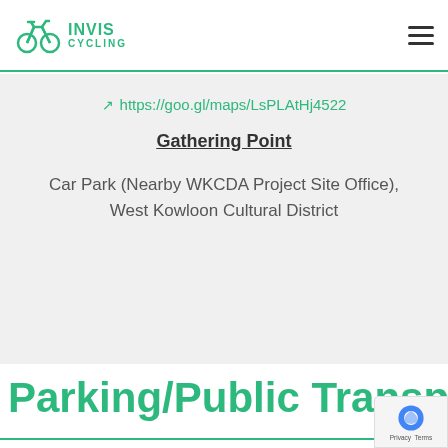[Figure (logo): Invis Cycling logo — teal bicycle icon with text INVIS CYCLING]
Invis Cycling header with logo and hamburger menu
https://goo.gl/maps/LsPLAtHj4522
Gathering Point
Car Park (Nearby WKCDA Project Site Office), West Kowloon Cultural District
Parking/Public Transp